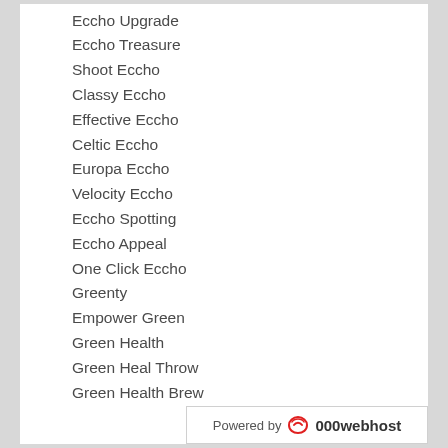Eccho Upgrade
Eccho Treasure
Shoot Eccho
Classy Eccho
Effective Eccho
Celtic Eccho
Europa Eccho
Velocity Eccho
Eccho Spotting
Eccho Appeal
One Click Eccho
Greenty
Empower Green
Green Health
Green Heal Throw
Green Health Brew
Mini Heal
Mnc Construction
Mobile Outlet
Muscle Blog
Net Business